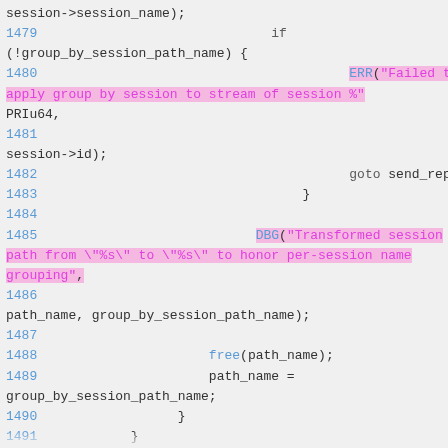Code listing lines 1479-1493: C source code showing session group by path name logic with ERR and DBG macro calls, goto send_reply, free and path_name assignments.